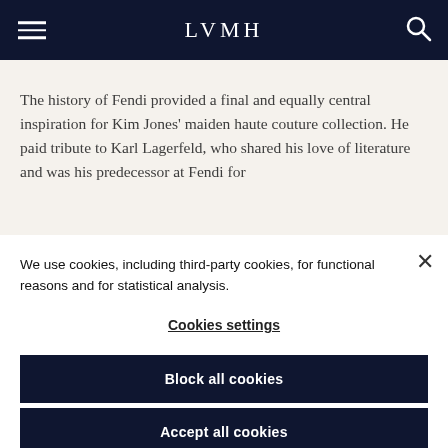LVMH
The history of Fendi provided a final and equally central inspiration for Kim Jones' maiden haute couture collection. He paid tribute to Karl Lagerfeld, who shared his love of literature and was his predecessor at Fendi for
We use cookies, including third-party cookies, for functional reasons and for statistical analysis.
Cookies settings
Block all cookies
Accept all cookies